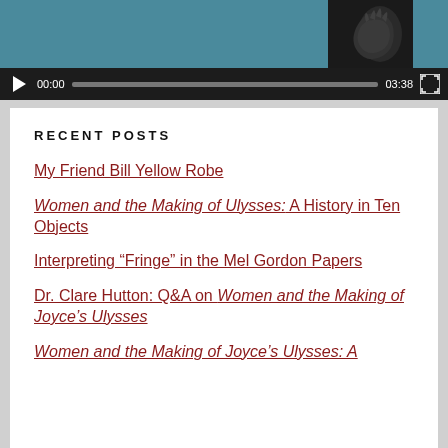[Figure (screenshot): Video player showing a dark image of hands, with teal/dark background. Video controls show play button, time 00:00, progress bar, duration 03:38, and fullscreen icon.]
RECENT POSTS
My Friend Bill Yellow Robe
Women and the Making of Ulysses: A History in Ten Objects
Interpreting “Fringe” in the Mel Gordon Papers
Dr. Clare Hutton: Q&A on Women and the Making of Joyce’s Ulysses
Women and the Making of Joyce’s Ulysses: A